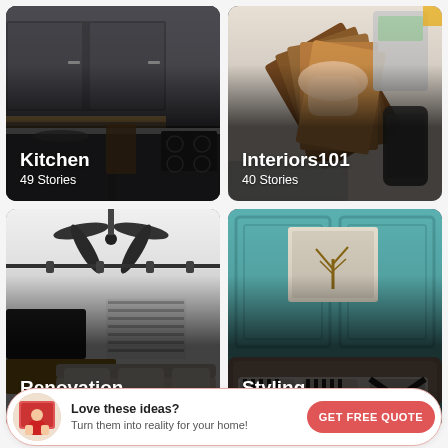[Figure (photo): Kitchen interior with dark cabinets and under-cabinet lighting]
Kitchen
49 Stories
[Figure (photo): Hand holding wood material samples with calculator and phone on desk]
Interiors101
40 Stories
[Figure (photo): Living room with ceiling fan, TV unit and sofa]
Renovation
37 Stories
[Figure (photo): Bedroom with teal paneled wall, framed artwork and striped pillows on bed]
Styling
32 Stories
Love these ideas? Turn them into reality for your home!
GET FREE QUOTE